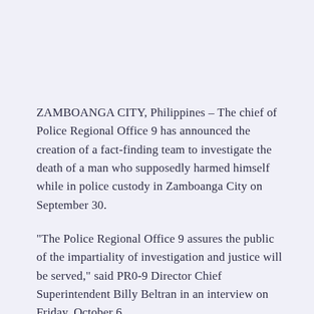ZAMBOANGA CITY, Philippines – The chief of Police Regional Office 9 has announced the creation of a fact-finding team to investigate the death of a man who supposedly harmed himself while in police custody in Zamboanga City on September 30.
“The Police Regional Office 9 assures the public of the impartiality of investigation and justice will be served,” said PR0-9 Director Chief Superintendent Billy Beltran in an interview on Friday, October 6.